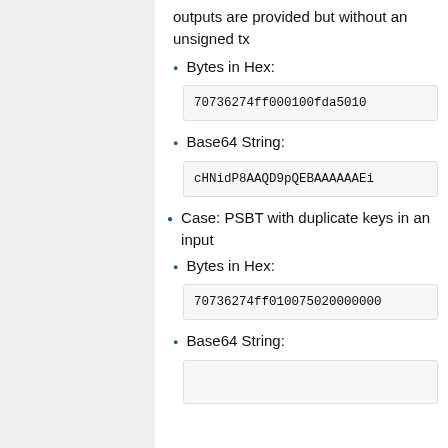outputs are provided but without an unsigned tx
Bytes in Hex:
70736274ff000100fda5010100...
Base64 String:
cHNidP8AAQD9pQEBAAAAAAEi...
Case: PSBT with duplicate keys in an input
Bytes in Hex:
70736274ff0100750200000000...
Base64 String: